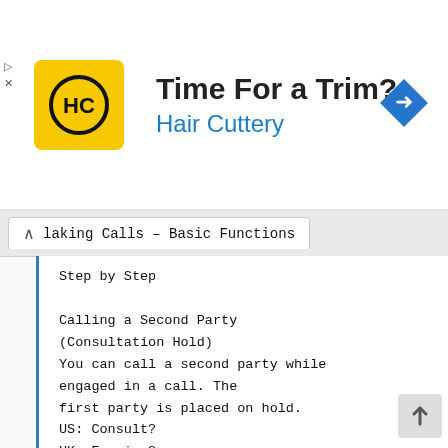[Figure (screenshot): Advertisement banner for Hair Cuttery with HC logo, 'Time For a Trim?' headline, 'Hair Cuttery' subheading in blue, and a blue navigation arrow icon on the right.]
Making Calls – Basic Functions
Step by Step

Calling a Second Party
(Consultation Hold)
You can call a second party while
engaged in a call. The
first party is placed on hold.
US: Consult?
UK: Enquiry?

: Confirm.
:
o Call the second party.
Return to the first party: